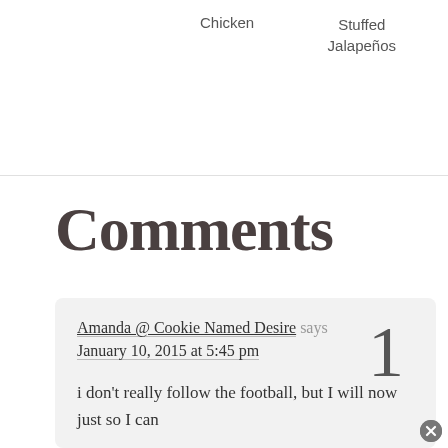Chicken   Stuffed Jalapeños
Comments
Amanda @ Cookie Named Desire says January 10, 2015 at 5:45 pm
i don't really follow the football, but I will now just so I can